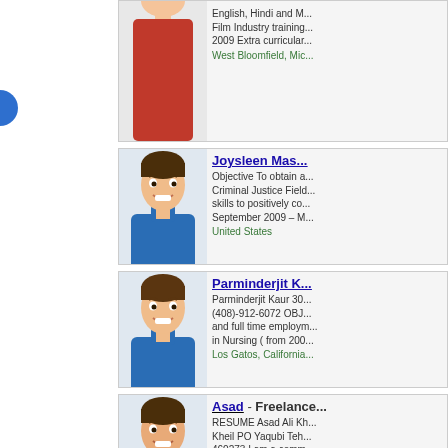[Figure (illustration): Partial view of a profile avatar (person in red shirt) at top of page, clipped]
English, Hindi and M... Film Industry training... 2009 Extra curricular...
West Bloomfield, Mic...
[Figure (illustration): Cartoon avatar of a man in blue turtleneck - Joysleen Mas profile]
Joysleen Mas...
Objective To obtain a... Criminal Justice Field... skills to positively co... September 2009 – M...
United States
[Figure (illustration): Cartoon avatar of a man in blue turtleneck - Parminderjit K profile]
Parminderjit K...
Parminderjit Kaur 30... (408)-912-6072 OBJ... and full time employm... in Nursing ( from 200...
Los Gatos, California...
[Figure (illustration): Cartoon avatar of a man in blue turtleneck - Asad Freelance profile]
Asad - Freelance...
RESUME Asad Ali Kh... Kheil PO Yaqubi Teh... 460273 I am a comm... than 8 years experie...
Peshawar, Khyber Pa...
[Figure (illustration): Partial cartoon avatar at bottom - Rajvir Freelance profile]
Rajvir - Freelanc...